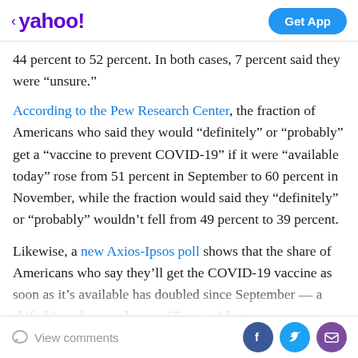< yahoo! | Get App
44 percent to 52 percent. In both cases, 7 percent said they were “unsure.”
According to the Pew Research Center, the fraction of Americans who said they would “definitely” or “probably” get a “vaccine to prevent COVID-19” if it were “available today” rose from 51 percent in September to 60 percent in November, while the fraction would said they “definitely” or “probably” wouldn’t fell from 49 percent to 39 percent.
Likewise, a new Axios-Ipsos poll shows that the share of Americans who say they’ll get the COVID-19 vaccine as soon as it’s available has doubled since September — a shift driven by people over 65 not evident across every
View comments | Facebook | Twitter | Mail